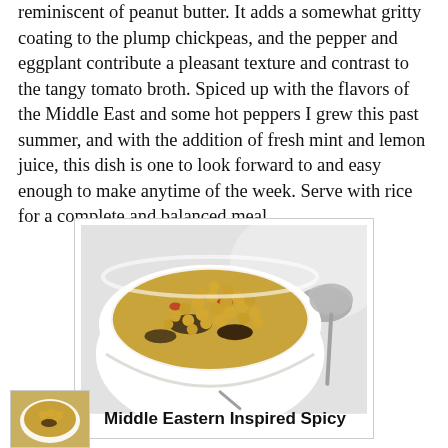reminiscent of peanut butter. It adds a somewhat gritty coating to the plump chickpeas, and the pepper and eggplant contribute a pleasant texture and contrast to the tangy tomato broth. Spiced up with the flavors of the Middle East and some hot peppers I grew this past summer, and with the addition of fresh mint and lemon juice, this dish is one to look forward to and easy enough to make anytime of the week. Serve with rice for a complete and balanced meal.
[Figure (photo): A white bowl filled with chickpea stew with eggplant and vegetables in a yellow-brown broth, with a spoon resting beside the bowl on a white cloth background.]
[Figure (photo): Small thumbnail image of a bowl of chickpea stew.]
Middle Eastern Inspired Spicy